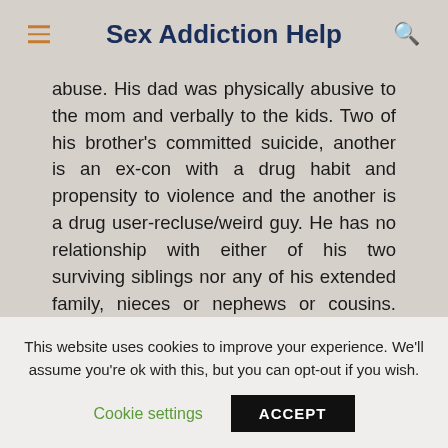Sex Addiction Help
abuse. His dad was physically abusive to the mom and verbally to the kids. Two of his brother's committed suicide, another is an ex-con with a drug habit and propensity to violence and the another is a drug user-recluse/weird guy. He has no relationship with either of his two surviving siblings nor any of his extended family, nieces or nephews or cousins. Things were obviously
This website uses cookies to improve your experience. We'll assume you're ok with this, but you can opt-out if you wish.
Cookie settings   ACCEPT